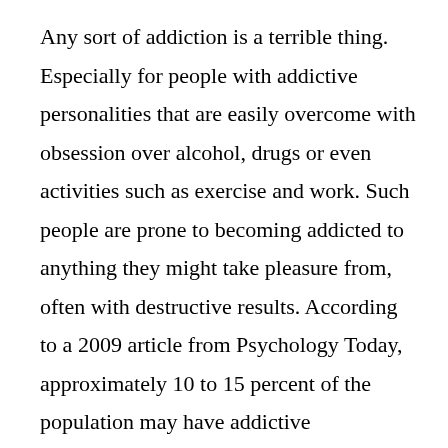Any sort of addiction is a terrible thing. Especially for people with addictive personalities that are easily overcome with obsession over alcohol, drugs or even activities such as exercise and work. Such people are prone to becoming addicted to anything they might take pleasure from, often with destructive results. According to a 2009 article from Psychology Today, approximately 10 to 15 percent of the population may have addictive personalities.